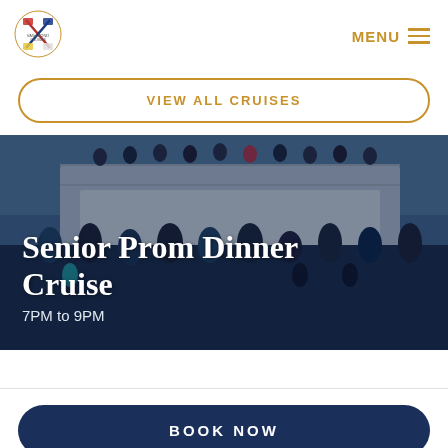[Figure (logo): Vagabond Cruises circular logo with crossed flags]
MENU
VIEW ALL CRUISES
[Figure (photo): Group of formally dressed young people on the decks of a cruise ship at dusk, showing multiple levels of the vessel with people along railings.]
Senior Prom Dinner Cruise
7PM to 9PM
BOOK NOW